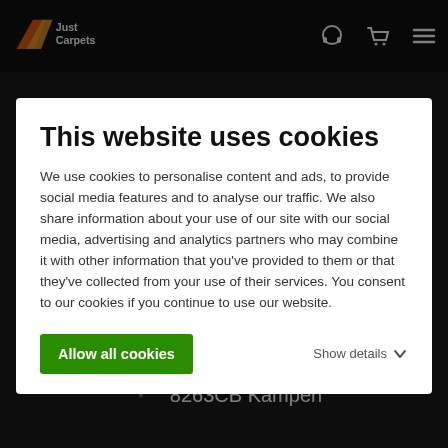[Figure (logo): Just Carpets logo with orange/red chevron icon and nav bar with headphone, cart, and menu icons]
This website uses cookies
We use cookies to personalise content and ads, to provide social media features and to analyse our traffic. We also share information about your use of our site with our social media, advertising and analytics partners who may combine it with other information that you've provided to them or that they've collected from your use of their services. You consent to our cookies if you continue to use our website.
Allow all cookies
Show details
Just Carpets
Eckertstraat 38
8263CB Kampen